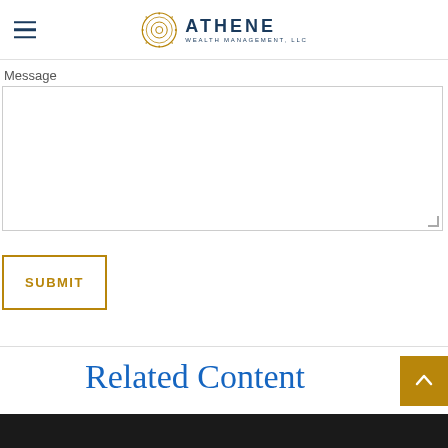Athene Wealth Management, LLC
Message
[Figure (screenshot): Empty textarea input field for message entry]
SUBMIT
Related Content
[Figure (photo): Dark image strip at bottom of page]